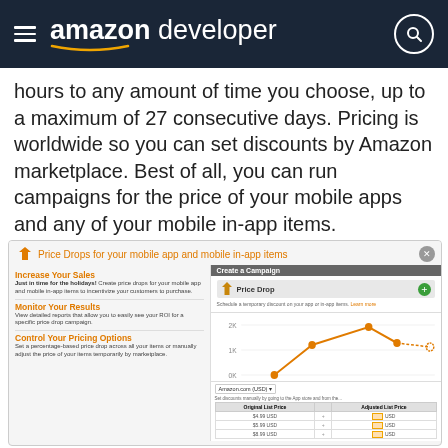amazon developer
hours to any amount of time you choose, up to a maximum of 27 consecutive days. Pricing is worldwide so you can set discounts by Amazon marketplace. Best of all, you can run campaigns for the price of your mobile apps and any of your mobile in-app items.
[Figure (screenshot): Screenshot of Amazon Developer Price Drops interface showing three sections: 'Increase Your Sales' with a Create a Campaign panel featuring a Price Drop button, 'Monitor Your Results' with a line chart, and 'Control Your Pricing Options' with a pricing table. Title reads 'Price Drops for your mobile app and mobile in-app items'.]